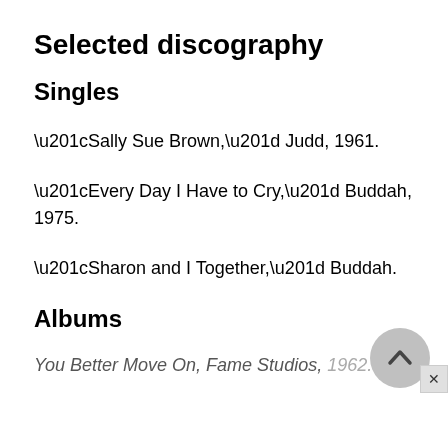Selected discography
Singles
“Sally Sue Brown,” Judd, 1961.
“Every Day I Have to Cry,” Buddah, 1975.
“Sharon and I Together,” Buddah.
Albums
You Better Move On, Fame Studios, 1962.